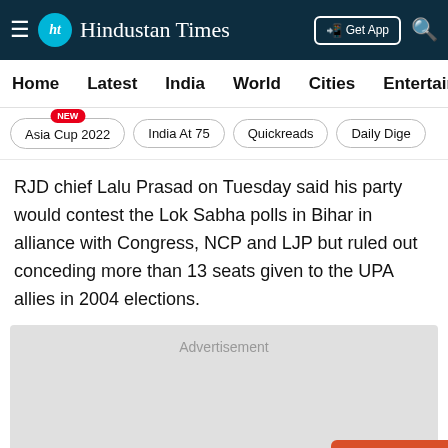Hindustan Times
Home | Latest | India | World | Cities | Entertainment
Asia Cup 2022 NEW | India At 75 | Quickreads | Daily Dige
RJD chief Lalu Prasad on Tuesday said his party would contest the Lok Sabha polls in Bihar in alliance with Congress, NCP and LJP but ruled out conceding more than 13 seats given to the UPA allies in 2004 elections.
[Figure (other): Advertisement placeholder box with OPEN APP button]